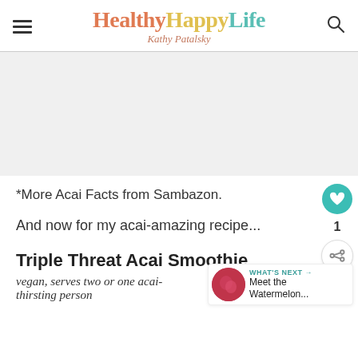HealthyHappyLife - Kathy Patalsky
[Figure (other): Advertisement placeholder block, light gray background]
*More Acai Facts from Sambazon.
And now for my acai-amazing recipe...
Triple Threat Acai Smoothie
vegan, serves two or one acai-thirsting person